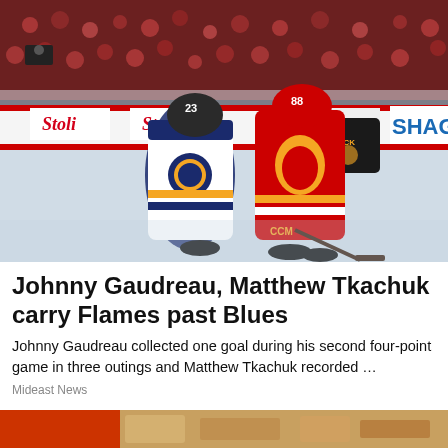[Figure (photo): NHL hockey game action photo showing a Calgary Flames player (#88) in red uniform battling with a St. Louis Blues player in white uniform along the boards. Rink advertisements include Stoli and SHAG visible on the boards. The arena is full of spectators.]
Johnny Gaudreau, Matthew Tkachuk carry Flames past Blues
Johnny Gaudreau collected one goal during his second four-point game in three outings and Matthew Tkachuk recorded …
Mideast News
[Figure (photo): Partial view of another news article image at the bottom of the page, showing a warm-toned food or sports related image cropped at the page edge.]